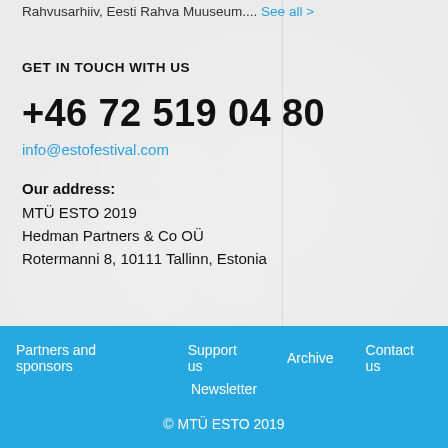Rahvusarhiiv, Eesti Rahva Muuseum.... See all >
GET IN TOUCH WITH US
+46 72 519 04 80
info@estofestival.com
Our address:
MTÜ ESTO 2019
Hedman Partners & Co OÜ
Rotermanni 8, 10111 Tallinn, Estonia
Partners and sponsors  Support us  Archive  Contact us  Newsletter  © MTÜ ESTO 2019